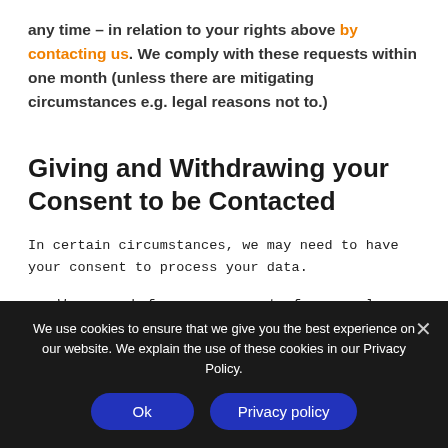any time – in relation to your rights above by contacting us. We comply with these requests within one month (unless there are mitigating circumstances e.g. legal reasons not to.)
Giving and Withdrawing your Consent to be Contacted
In certain circumstances, we may need to have your consent to process your data.
We may ask for your consent, for example, when you fill in
We use cookies to ensure that we give you the best experience on our website. We explain the use of these cookies in our Privacy Policy.